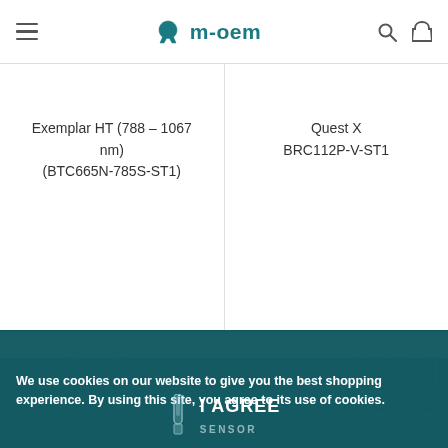m-oem
Exemplar HT (788 – 1067 nm)
(BTC665N-785S-ST1)
Quest X
BRC112P-V-ST1
We use cookies on our website to give you the best shopping experience. By using this site, you agree to its use of cookies.
SPECTROSCOPY
ELECTROCHEMISTRY
I AGREE
SENSOR